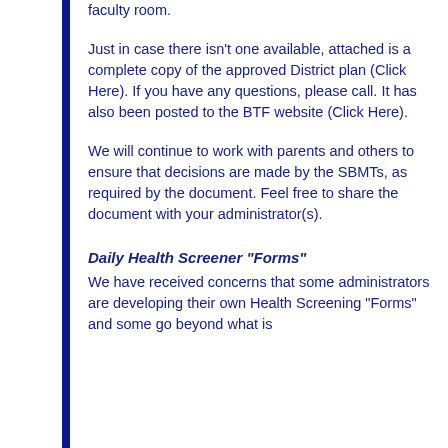faculty room.
Just in case there isn't one available, attached is a complete copy of the approved District plan (Click Here). If you have any questions, please call. It has also been posted to the BTF website (Click Here).
We will continue to work with parents and others to ensure that decisions are made by the SBMTs, as required by the document. Feel free to share the document with your administrator(s).
Daily Health Screener “Forms”
We have received concerns that some administrators are developing their own Health Screening “Forms” and some go beyond what is